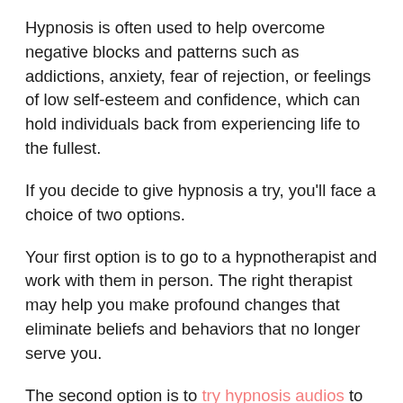Hypnosis is often used to help overcome negative blocks and patterns such as addictions, anxiety, fear of rejection, or feelings of low self-esteem and confidence, which can hold individuals back from experiencing life to the fullest.
If you decide to give hypnosis a try, you'll face a choice of two options.
Your first option is to go to a hypnotherapist and work with them in person. The right therapist may help you make profound changes that eliminate beliefs and behaviors that no longer serve you.
The second option is to try hypnosis audios to potentially update your subconscious patterns and beliefs alone.